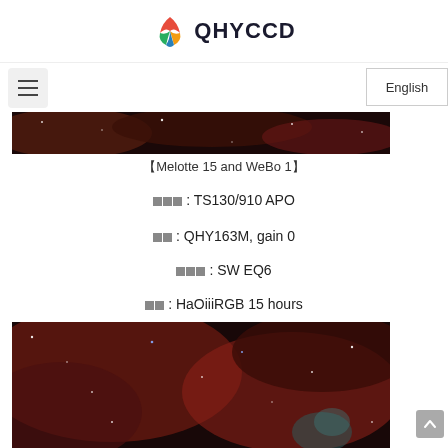[Figure (logo): QHYCCD logo with colorful feather/wing icon and bold text QHYCCD]
[Figure (photo): Top portion of an astronomical nebula image showing dark space with red/brown nebulosity]
【Melotte 15 and WeBo 1】
■■■: TS130/910 APO
■■: QHY163M, gain 0
■■■: SW EQ6
■■: HaOiiiRGB 15 hours
[Figure (photo): Astronomical nebula image showing red hydrogen-alpha nebulosity with stars, Melotte 15 and WeBo 1 region]